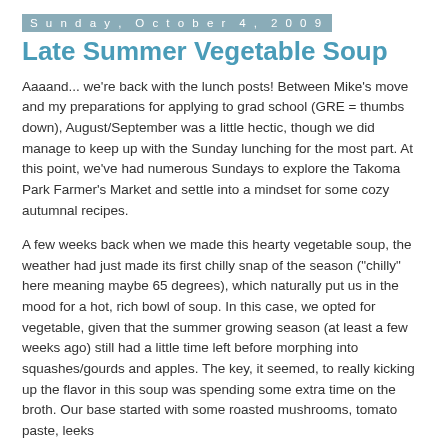Sunday, October 4, 2009
Late Summer Vegetable Soup
Aaaand... we're back with the lunch posts! Between Mike's move and my preparations for applying to grad school (GRE = thumbs down), August/September was a little hectic, though we did manage to keep up with the Sunday lunching for the most part. At this point, we've had numerous Sundays to explore the Takoma Park Farmer's Market and settle into a mindset for some cozy autumnal recipes.
A few weeks back when we made this hearty vegetable soup, the weather had just made its first chilly snap of the season ("chilly" here meaning maybe 65 degrees), which naturally put us in the mood for a hot, rich bowl of soup. In this case, we opted for vegetable, given that the summer growing season (at least a few weeks ago) still had a little time left before morphing into squashes/gourds and apples. The key, it seemed, to really kicking up the flavor in this soup was spending some extra time on the broth. Our base started with some roasted mushrooms, tomato paste, leeks